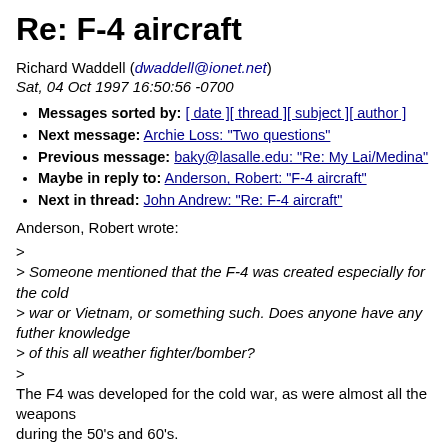Re: F-4 aircraft
Richard Waddell (dwaddell@ionet.net)
Sat, 04 Oct 1997 16:50:56 -0700
Messages sorted by: [ date ][ thread ][ subject ][ author ]
Next message: Archie Loss: "Two questions"
Previous message: baky@lasalle.edu: "Re: My Lai/Medina"
Maybe in reply to: Anderson, Robert: "F-4 aircraft"
Next in thread: John Andrew: "Re: F-4 aircraft"
Anderson, Robert wrote:
>
> Someone mentioned that the F-4 was created especially for the cold
> war or Vietnam, or something such. Does anyone have any futher knowledge
> of this all weather fighter/bomber?
>
The F4 was developed for the cold war, as were almost all the weapons
during the 50's and 60's.

At the time the F4 was selected as the interceptor/ground attack